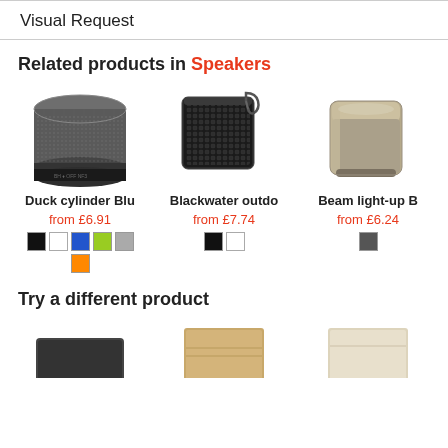Visual Request
Related products in Speakers
[Figure (photo): Cylindrical dark grey Bluetooth speaker (Duck cylinder Blu)]
Duck cylinder Blu
from £6.91
[Figure (photo): Square black outdoor Bluetooth speaker with carabiner clip (Blackwater outdo)]
Blackwater outdo
from £7.74
[Figure (photo): Rectangular champagne/gold light-up Bluetooth speaker (Beam light-up B)]
Beam light-up B
from £6.24
Try a different product
[Figure (photo): Partial view of product at bottom left]
[Figure (photo): Partial view of product at bottom center]
[Figure (photo): Partial view of product at bottom right]